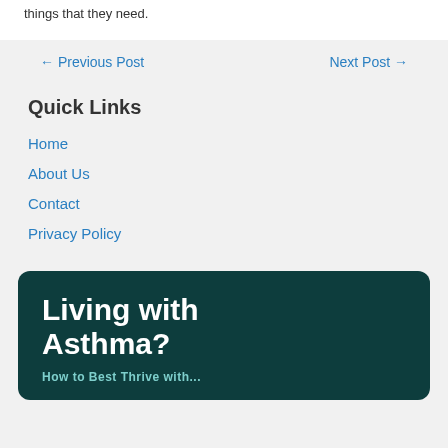things that they need.
← Previous Post
Next Post →
Quick Links
Home
About Us
Contact
Privacy Policy
Living with Asthma?